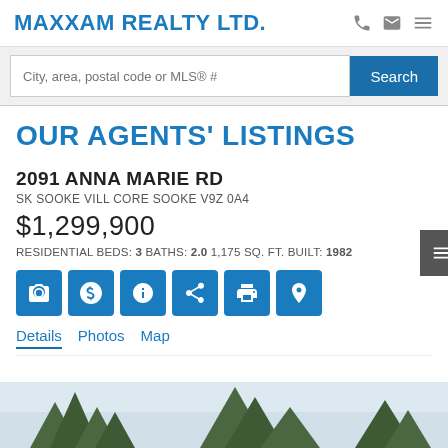MAXXAM REALTY LTD.
City, area, postal code or MLS® #
OUR AGENTS' LISTINGS
2091 ANNA MARIE RD
SK SOOKE VILL CORE SOOKE V9Z 0A4
$1,299,900
RESIDENTIAL BEDS: 3 BATHS: 2.0 1,175 SQ. FT. BUILT: 1982
Details  Photos  Map
[Figure (photo): Outdoor photo showing conifer trees against a pale sky, partially visible at the bottom of the page]